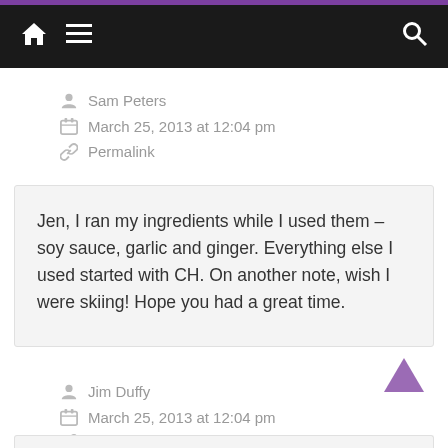Navigation bar with home, menu, and search icons
Sam Peters
March 25, 2013 at 12:04 pm
Permalink
Jen, I ran my ingredients while I used them – soy sauce, garlic and ginger. Everything else I used started with CH. On another note, wish I were skiing! Hope you had a great time.
Jim Duffy
March 25, 2013 at 12:04 pm
Permalink